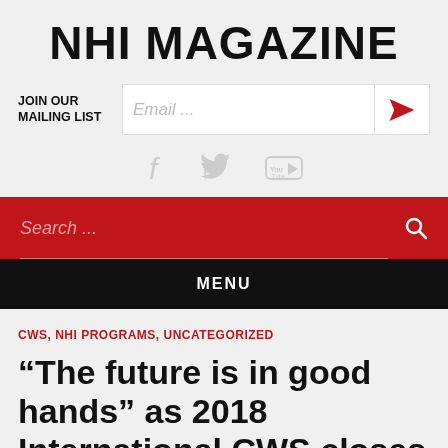NHI MAGAZINE
JOIN OUR MAILING LIST  Email ...
[Figure (screenshot): Social media icons: Facebook, Twitter, YouTube in light grey]
Search ...
MENU
CWS, NHI PROGRAMS, UNCATEGORIZED
“The future is in good hands” as 2018 International CWS closes